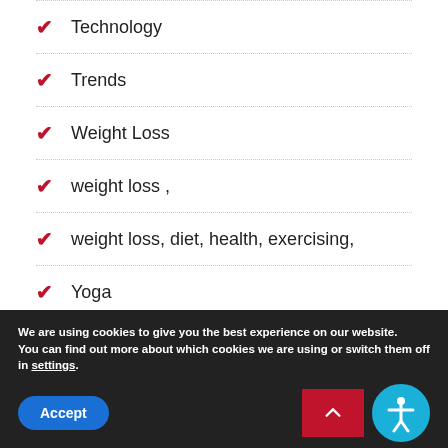Technology
Trends
Weight Loss
weight loss ,
weight loss, diet, health, exercising,
Yoga
We are using cookies to give you the best experience on our website.
You can find out more about which cookies we are using or switch them off in settings.